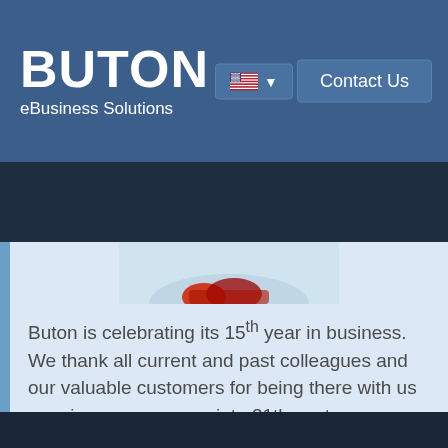BUTON eBusiness Solutions
[Figure (screenshot): Partial image cropped at top of content area, showing bottom portion of a red/dark decorative image against a light blue background]
Buton is celebrating its 15th year in business. We thank all current and past colleagues and our valuable customers for being there with us carrying our company into 21th century.